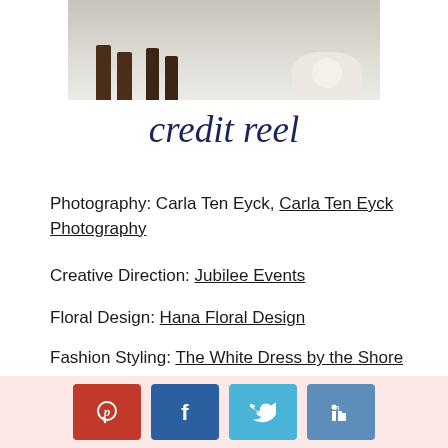[Figure (photo): Partial photo showing horse legs and white dress/fabric on snowy ground]
credit reel
Photography: Carla Ten Eyck, Carla Ten Eyck Photography
Creative Direction: Jubilee Events
Floral Design: Hana Floral Design
Fashion Styling: The White Dress by the Shore
Fences Sandy Pl... Sandy...
[Figure (infographic): Social share buttons: Pinterest (red), Facebook (dark blue), Twitter (light blue), LinkedIn (medium blue)]